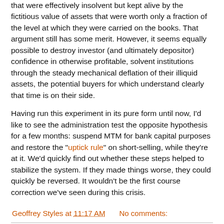that were effectively insolvent but kept alive by the fictitious value of assets that were worth only a fraction of the level at which they were carried on the books. That argument still has some merit. However, it seems equally possible to destroy investor (and ultimately depositor) confidence in otherwise profitable, solvent institutions through the steady mechanical deflation of their illiquid assets, the potential buyers for which understand clearly that time is on their side.
Having run this experiment in its pure form until now, I'd like to see the administration test the opposite hypothesis for a few months: suspend MTM for bank capital purposes and restore the "uptick rule" on short-selling, while they're at it. We'd quickly find out whether these steps helped to stabilize the system. If they made things worse, they could quickly be reversed. It wouldn't be the first course correction we've seen during this crisis.
Geoffrey Styles at 11:17 AM    No comments:
Wednesday, March 11, 2009